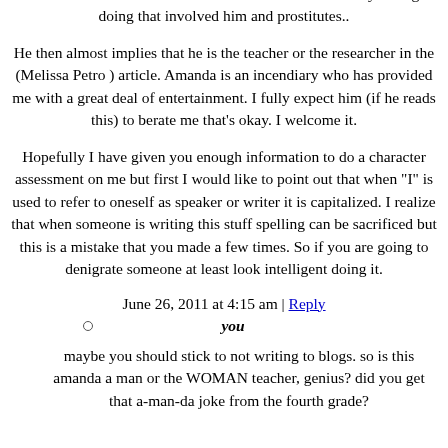da, Obviously he has a pretty analytical mind but it makes sense that he would be rationalizing, something he has done to say " i don't believe there was coercion. It would absolve him of any wrong doing that involved him and prostitutes..
He then almost implies that he is the teacher or the researcher in the (Melissa Petro ) article. Amanda is an incendiary who has provided me with a great deal of entertainment. I fully expect him (if he reads this) to berate me that's okay. I welcome it.
Hopefully I have given you enough information to do a character assessment on me but first I would like to point out that when "I" is used to refer to oneself as speaker or writer it is capitalized. I realize that when someone is writing this stuff spelling can be sacrificed but this is a mistake that you made a few times. So if you are going to denigrate someone at least look intelligent doing it.
June 26, 2011 at 4:15 am | Reply
you
maybe you should stick to not writing to blogs. so is this amanda a man or the WOMAN teacher, genius? did you get that a-man-da joke from the fourth grade?